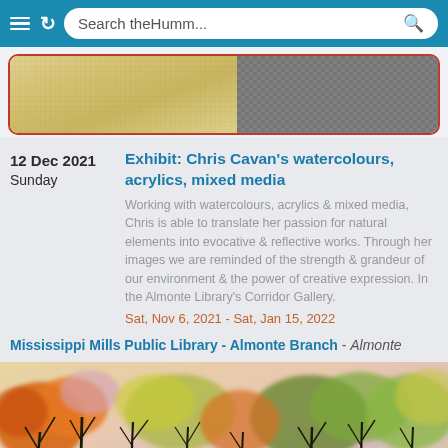Search theHumm...
[Figure (photo): Banner image with yellow/gold textured left panel and grey crosshatched pattern right panel, framed with a red/orange border]
12 Dec 2021
Sunday
Exhibit: Chris Cavan's watercolours, acrylics, mixed media
Working with watercolours, acrylics & mixed media, Chris is able to translate her passion for natural elements into evocative & reflective works. Through her images we are reminded of the strength & grandeur of our environment & the power of creative expression. In the Almonte Library's Corridor Gallery.
Sat, Nov 6, 2021 - Sat, Jan 15, 2022
Mississippi Mills Public Library - Almonte Branch - Almonte
[Figure (photo): Watercolour painting of autumn trees with orange, yellow and green foliage and dark bare branches against a warm sky]